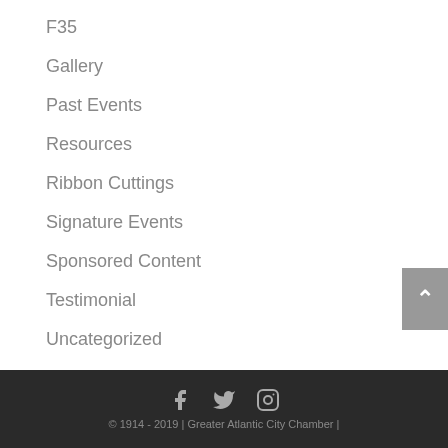F35
Gallery
Past Events
Resources
Ribbon Cuttings
Signature Events
Sponsored Content
Testimonial
Uncategorized
Upcoming Events
VIDEO
© 1914 - 2019 | Greater Atlantic City Chamber |